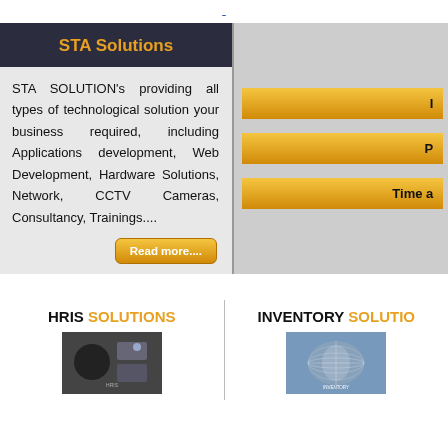STA Solutions
STA SOLUTION's providing all types of technological solution your business required, including Applications development, Web Development, Hardware Solutions, Network, CCTV Cameras, Consultancy, Trainings....
Read more....
I
P
Time a
HRIS SOLUTIONS
[Figure (photo): People using technology devices, dark background]
INVENTORY SOLUTIONS
[Figure (photo): World map / globe, blue toned image]